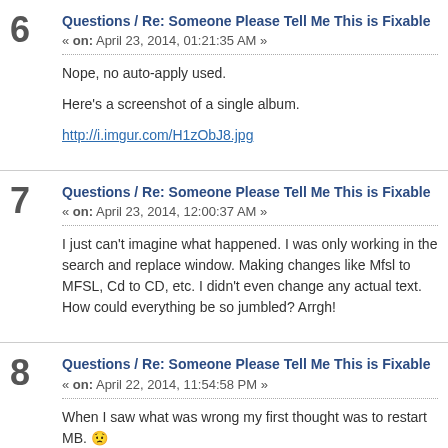6 Questions / Re: Someone Please Tell Me This is Fixable « on: April 23, 2014, 01:21:35 AM »
Nope, no auto-apply used.

Here's a screenshot of a single album.

http://i.imgur.com/H1zObJ8.jpg
7 Questions / Re: Someone Please Tell Me This is Fixable « on: April 23, 2014, 12:00:37 AM »
I just can't imagine what happened. I was only working in the search and replace window. Making changes like Mfsl to MFSL, Cd to CD, etc. I didn't even change any actual text. How could everything be so jumbled? Arrgh!
8 Questions / Re: Someone Please Tell Me This is Fixable « on: April 22, 2014, 11:54:58 PM »
When I saw what was wrong my first thought was to restart MB. 😟
Questions / Re: Someone Please Tell Me This is Fixable